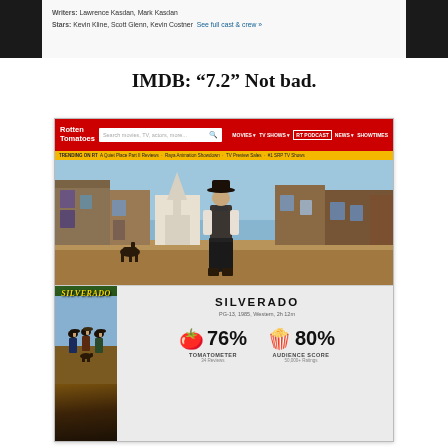[Figure (screenshot): IMDB website screenshot showing Writers: Lawrence Kasdan, Mark Kasdan and Stars: Kevin Kline, Scott Glenn, Kevin Costner. See full cast & crew link.]
IMDB: “7.2” Not bad.
[Figure (screenshot): Rotten Tomatoes website screenshot showing the movie Silverado (PG-13, 1985, Western, 2h 12m) with Tomatometer score of 76% (34 reviews) and Audience Score of 80% (50,000+ ratings). Screenshot includes the RT navigation bar in red, a hero image of a western scene with a cowboy standing in front of a western town, and a movie poster of Silverado showing three figures.]